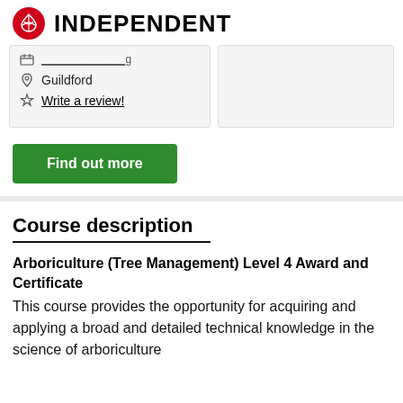INDEPENDENT
Guildford
Write a review!
Find out more
Course description
Arboriculture (Tree Management) Level 4 Award and Certificate
This course provides the opportunity for acquiring and applying a broad and detailed technical knowledge in the science of arboriculture